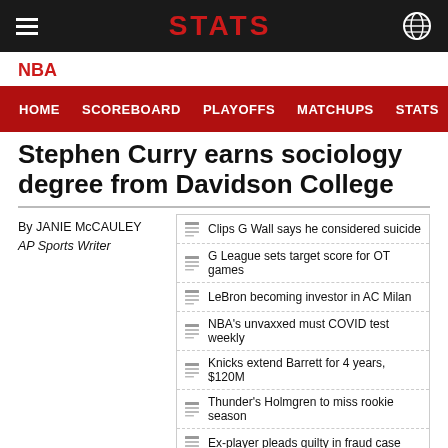STATS
NBA
Stephen Curry earns sociology degree from Davidson College
By JANIE McCAULEY
AP Sports Writer
Clips G Wall says he considered suicide
G League sets target score for OT games
LeBron becoming investor in AC Milan
NBA's unvaxxed must COVID test weekly
Knicks extend Barrett for 4 years, $120M
Thunder's Holmgren to miss rookie season
Ex-player pleads guilty in fraud case
Wolves F Prince arrested on warrant
Lakers acquire G Beverley from Jazz
Bryant widow awarded $16M in photos case